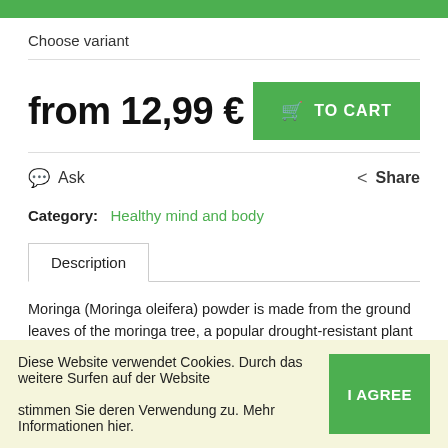Choose variant
from 12,99 €
TO CART
Ask
Share
Category: Healthy mind and body
Description
Moringa (Moringa oleifera) powder is made from the ground leaves of the moringa tree, a popular drought-resistant plant that has been used in Ayurveda for
Diese Website verwendet Cookies. Durch das weitere Surfen auf der Website stimmen Sie deren Verwendung zu. Mehr Informationen hier.
I AGREE